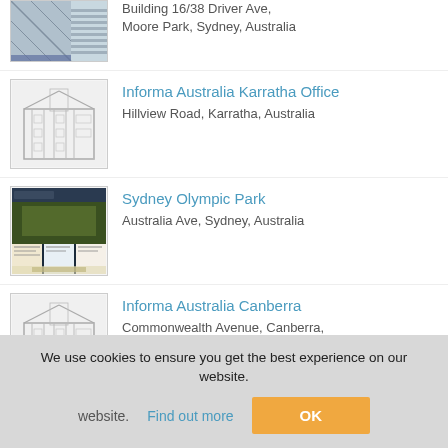Building 16/38 Driver Ave, Moore Park, Sydney, Australia
Informa Australia Karratha Office
Hillview Road, Karratha, Australia
Sydney Olympic Park
Australia Ave, Sydney, Australia
Informa Australia Canberra
Commonwealth Avenue, Canberra, Australia
Informa Australia Perth
We use cookies to ensure you get the best experience on our website.
Find out more
OK